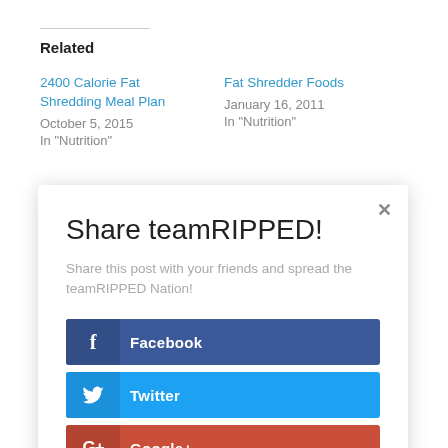Related
2400 Calorie Fat Shredding Meal Plan
October 5, 2015
In "Nutrition"
Fat Shredder Foods
January 16, 2011
In "Nutrition"
Share teamRIPPED!
Share this post with your friends and spread the teamRIPPED Nation!
Facebook
Twitter
Google+